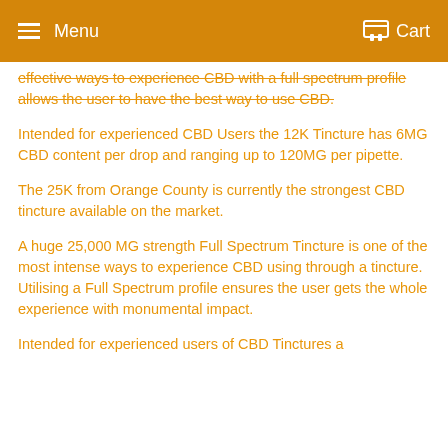Menu   Cart
effective ways to experience CBD with a full spectrum profile allows the user to have the best way to use CBD.
Intended for experienced CBD Users the 12K Tincture has 6MG CBD content per drop and ranging up to 120MG per pipette.
The 25K from Orange County is currently the strongest CBD tincture available on the market.
A huge 25,000 MG strength Full Spectrum Tincture is one of the most intense ways to experience CBD using through a tincture. Utilising a Full Spectrum profile ensures the user gets the whole experience with monumental impact.
Intended for experienced users of CBD Tinctures a